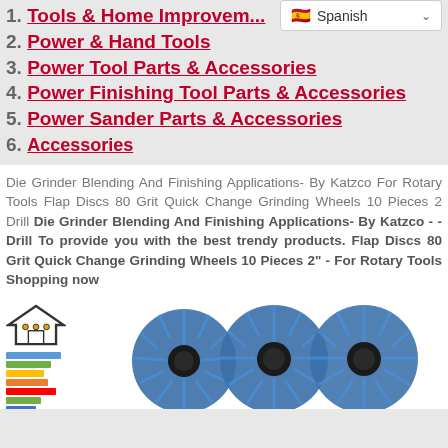1. Tools & Home Improvement
2. Power & Hand Tools
3. Power Tool Parts & Accessories
4. Power Finishing Tool Parts & Accessories
5. Power Sander Parts & Accessories
6. Accessories
Die Grinder Blending And Finishing Applications- By Katzco For Rotary Tools Flap Discs 80 Grit Quick Change Grinding Wheels 10 Pieces 2 Drill Die Grinder Blending And Finishing Applications- By Katzco - - Drill To provide you with the best trendy products. Flap Discs 80 Grit Quick Change Grinding Wheels 10 Pieces 2" - For Rotary Tools Shopping now
[Figure (photo): Product image showing four blue flap discs / grinding wheels, with a house logo and energy rating bars on the left side]